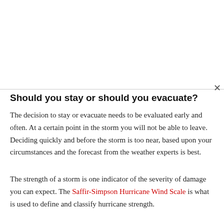Should you stay or should you evacuate?
The decision to stay or evacuate needs to be evaluated early and often. At a certain point in the storm you will not be able to leave. Deciding quickly and before the storm is too near, based upon your circumstances and the forecast from the weather experts is best.
The strength of a storm is one indicator of the severity of damage you can expect. The Saffir-Simpson Hurricane Wind Scale is what is used to define and classify hurricane strength.
Category 1 Hurricane – Sustained Winds 74-95 MPH
Very dangerous winds will produce some damage: Well-constructed frame homes could have damage to roof, shingles, vinyl siding and gutters. Large branches of trees